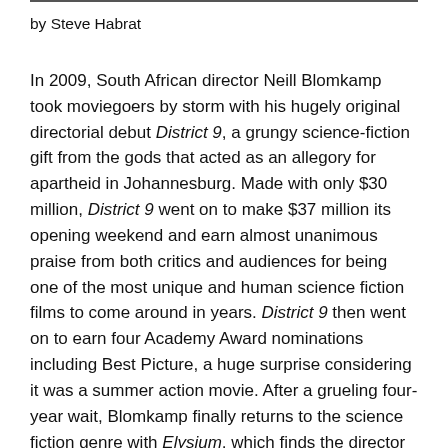by Steve Habrat
In 2009, South African director Neill Blomkamp took moviegoers by storm with his hugely original directorial debut District 9, a grungy science-fiction gift from the gods that acted as an allegory for apartheid in Johannesburg. Made with only $30 million, District 9 went on to make $37 million its opening weekend and earn almost unanimous praise from both critics and audiences for being one of the most unique and human science fiction films to come around in years. District 9 then went on to earn four Academy Award nominations including Best Picture, a huge surprise considering it was a summer action movie. After a grueling four-year wait, Blomkamp finally returns to the science fiction genre with Elysium, which finds the director digging deeper into the politics that he hinted at